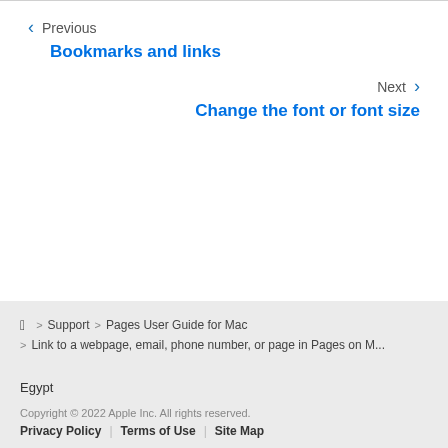< Previous
Bookmarks and links
Next >
Change the font or font size
Apple > Support > Pages User Guide for Mac
> Link to a webpage, email, phone number, or page in Pages on M...
Egypt
Copyright © 2022 Apple Inc. All rights reserved.
Privacy Policy | Terms of Use | Site Map